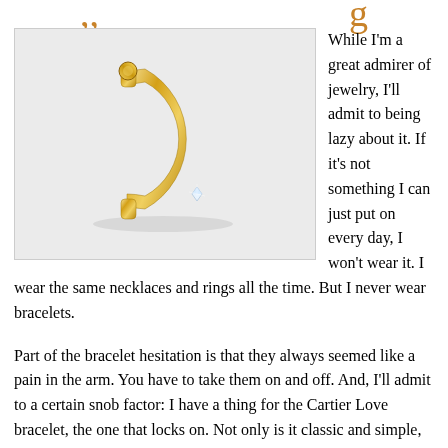[Figure (photo): A gold D-shaped bracelet/shackle with a small diamond detail, photographed on a light grey/white background. The bracelet has a D-ring shape with a screw or ball detail on one end and a small diamond or crystal at the bottom.]
While I'm a great admirer of jewelry, I'll admit to being lazy about it. If it's not something I can just put on every day, I won't wear it. I wear the same necklaces and rings all the time. But I never wear bracelets.

Part of the bracelet hesitation is that they always seemed like a pain in the arm. You have to take them on and off. And, I'll admit to a certain snob factor: I have a thing for the Cartier Love bracelet, the one that locks on. Not only is it classic and simple, but since the thing locks on, I don't need to remove it. How lazy is that? Unfortunately, Cartier is way out of Toad's